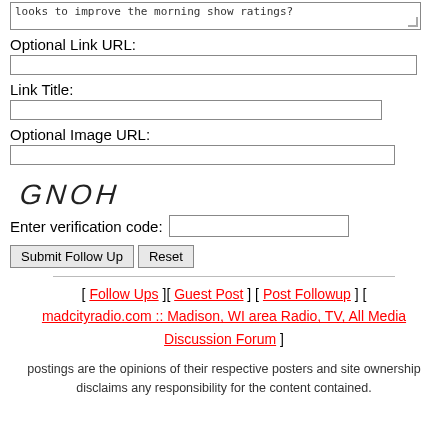looks to improve the morning show ratings?
Optional Link URL:
Link Title:
Optional Image URL:
[Figure (other): CAPTCHA image showing handwritten letters GNOH]
Enter verification code:
Submit Follow Up  Reset
[ Follow Ups ][ Guest Post ] [ Post Followup ] [ madcityradio.com :: Madison, WI area Radio, TV, All Media Discussion Forum ]
postings are the opinions of their respective posters and site ownership disclaims any responsibility for the content contained.